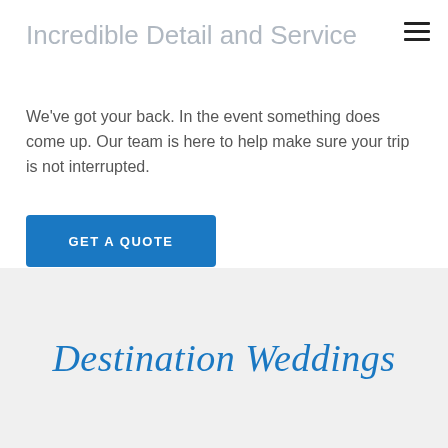Incredible Detail and Service
We've got your back. In the event something does come up. Our team is here to help make sure your trip is not interrupted.
GET A QUOTE
Destination Weddings